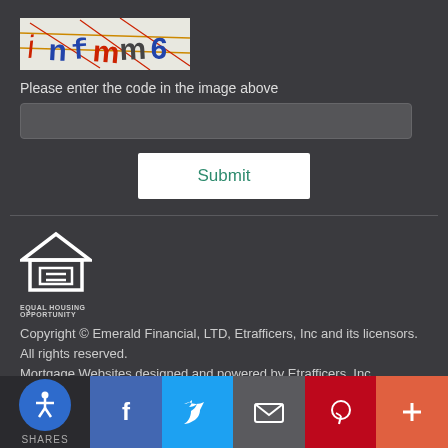[Figure (other): CAPTCHA image showing distorted letters: i n f m m 6 with colored lines crossing through]
Please enter the code in the image above
[Figure (other): Text input field for CAPTCHA entry]
[Figure (other): Submit button]
[Figure (logo): Equal Housing Opportunity logo - house with equals sign]
EQUAL HOUSING OPPORTUNITY
Copyright © Emerald Financial, LTD, Etrafficers, Inc and its licensors. All rights reserved. Mortgage Websites designed and powered by Etrafficers, Inc.
[Figure (other): Social share bar with accessibility button, Facebook, Twitter, Email, Pinterest, and More buttons]